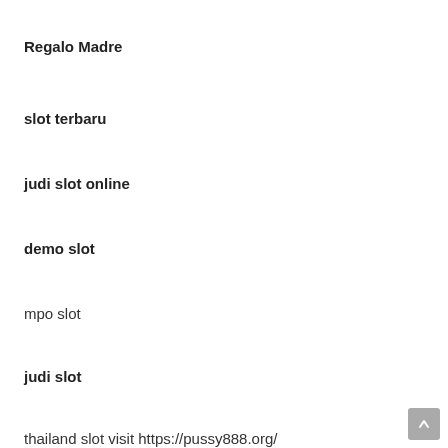Regalo Madre
slot terbaru
judi slot online
demo slot
mpo slot
judi slot
thailand slot visit https://pussy888.org/